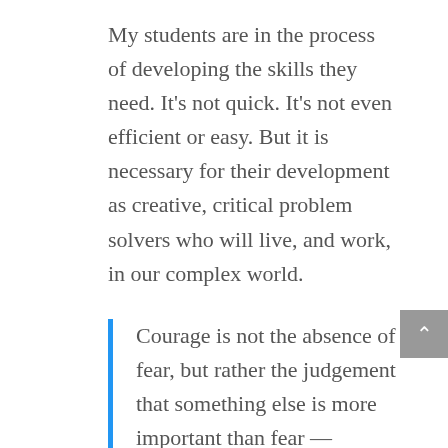My students are in the process of developing the skills they need. It's not quick. It's not even efficient or easy. But it is necessary for their development as creative, critical problem solvers who will live, and work, in our complex world.
Courage is not the absence of fear, but rather the judgement that something else is more important than fear — Ambrose Redmoon
Read all three posts about our Holocaust project: